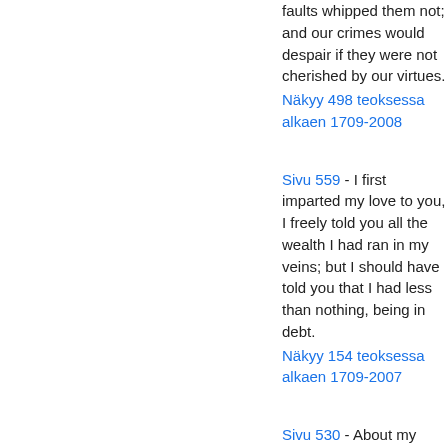faults whipped them not; and our crimes would despair if they were not cherished by our virtues.
Näkyy 498 teoksessa alkaen 1709-2008
Sivu 559 - I first imparted my love to you, I freely told you all the wealth I had ran in my veins; but I should have told you that I had less than nothing, being in debt.
Näkyy 154 teoksessa alkaen 1709-2007
Sivu 530 - About my moneys, and my usances : Still have I borne it with a patient shrug ; For sufferance is the badge of all our tribe